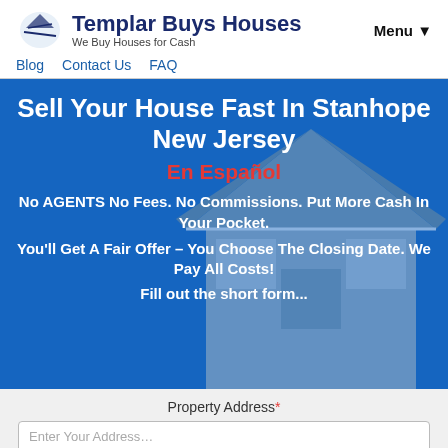Templar Buys Houses — We Buy Houses for Cash
Blog   Contact Us   FAQ   Menu ▼
Sell Your House Fast In Stanhope New Jersey
En Español
No AGENTS No Fees. No Commissions. Put More Cash In Your Pocket.
You'll Get A Fair Offer – You Choose The Closing Date. We Pay All Costs!
Fill out the short form...
Property Address*